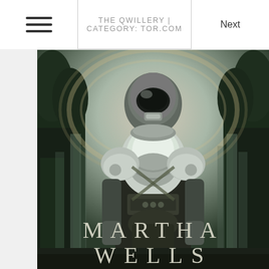THE QWILLERY | CATEGORY: TOR.COM
[Figure (illustration): Book cover illustration showing an armored humanoid figure (Murderbot) wearing a helmet and mechanical armor, standing in a misty forest-like environment with dark trees in the background and a circular halo/ring above. At the bottom of the cover, large spaced text reads 'MARTHA WELLS' in two lines.]